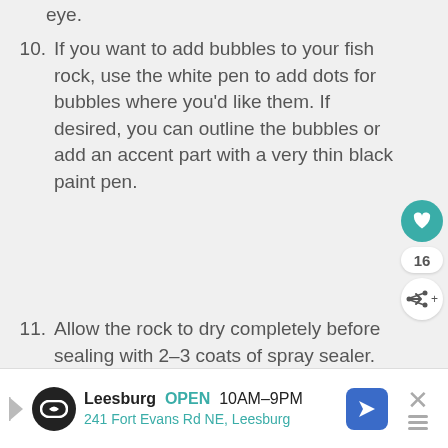eye.
10. If you want to add bubbles to your fish rock, use the white pen to add dots for bubbles where you'd like them. If desired, you can outline the bubbles or add an accent part with a very thin black paint pen.
11. Allow the rock to dry completely before sealing with 2–3 coats of spray sealer.
RECOMMENDED PRODUCTS:
[Figure (other): Advertisement banner for Leesburg store, OPEN 10AM-9PM, 241 Fort Evans Rd NE, Leesburg, with logo, arrow icon, close button and sidebar with heart button (16 likes) and share button]